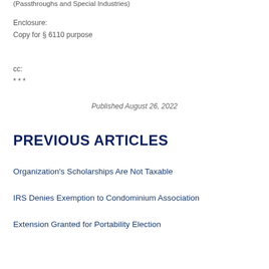(Passthroughs and Special Industries)
Enclosure:
Copy for § 6110 purpose
cc:
* * *
Published August 26, 2022
PREVIOUS ARTICLES
Organization's Scholarships Are Not Taxable
IRS Denies Exemption to Condominium Association
Extension Granted for Portability Election